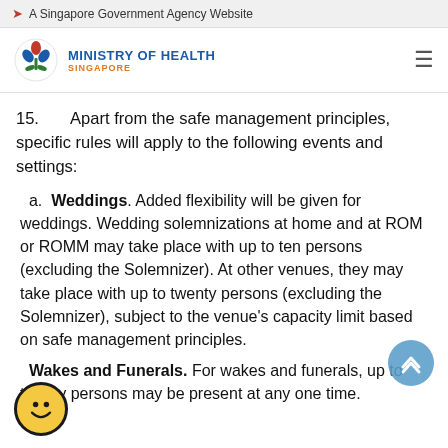A Singapore Government Agency Website
[Figure (logo): Ministry of Health Singapore logo with stylized tulip/person icon in blue and red, text MINISTRY OF HEALTH SINGAPORE]
15.      Apart from the safe management principles, specific rules will apply to the following events and settings:
a.  Weddings. Added flexibility will be given for weddings. Wedding solemnizations at home and at ROM or ROMM may take place with up to ten persons (excluding the Solemnizer). At other venues, they may take place with up to twenty persons (excluding the Solemnizer), subject to the venue's capacity limit based on safe management principles.
b.  Wakes and Funerals. For wakes and funerals, up to twenty persons may be present at any one time.